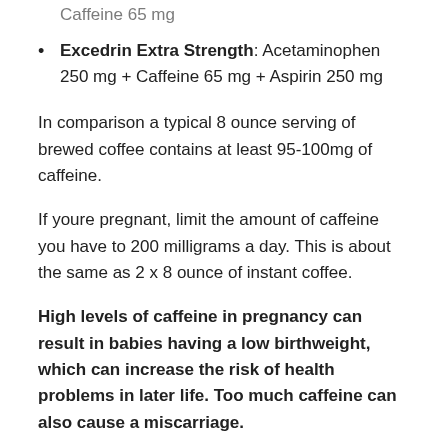Caffeine 65 mg (partial/cut off at top)
Excedrin Extra Strength: Acetaminophen 250 mg + Caffeine 65 mg + Aspirin 250 mg
In comparison a typical 8 ounce serving of brewed coffee contains at least 95-100mg of caffeine.
If youre pregnant, limit the amount of caffeine you have to 200 milligrams a day. This is about the same as 2 x 8 ounce of instant coffee.
High levels of caffeine in pregnancy can result in babies having a low birthweight, which can increase the risk of health problems in later life. Too much caffeine can also cause a miscarriage.
What Are The Side Effects Of